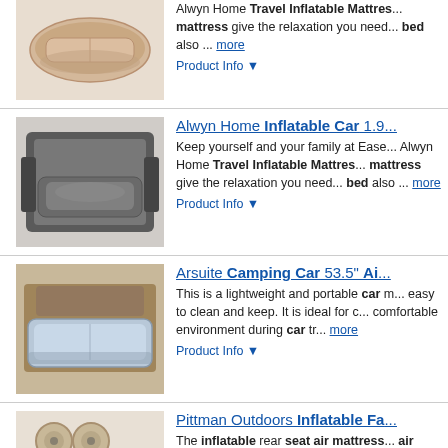[Figure (photo): Beige inflatable car mattress product photo]
Alwyn Home Travel Inflatable Mattress ... mattress give the relaxation you need ... bed also ... more
Product Info ▼
[Figure (photo): Gray inflatable car mattress in car back seat]
Alwyn Home Inflatable Car 1.9...
Keep yourself and your family at Ease... Alwyn Home Travel Inflatable Mattres... mattress give the relaxation you need... bed also ... more
Product Info ▼
[Figure (photo): Light blue inflatable camping car air mattress]
Arsuite Camping Car 53.5" Ai...
This is a lightweight and portable car m... easy to clean and keep. It is ideal for c... comfortable environment during car tr... more
Product Info ▼
[Figure (photo): Beige inflatable rear seat air mattress product photo]
Pittman Outdoors Inflatable Fa...
The inflatable rear seat air mattress ... air mattress is made of soft, heavy-du... air pump for your convenience. No ne...
Product Info ▼
[Figure (photo): Inflatable car mattress in car boot]
Alwyn Home Adley Inflatable B...
This is a lightweight and portable car m... easy to clean and keep. It is ideal for...